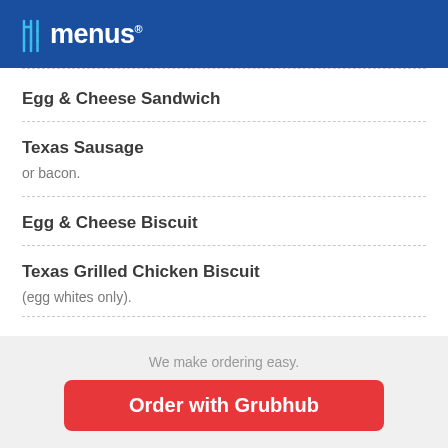allmenus
Egg & Cheese Sandwich
Texas Sausage
or bacon.
Egg & Cheese Biscuit
Texas Grilled Chicken Biscuit
(egg whites only).
We make ordering easy.
Order with Grubhub